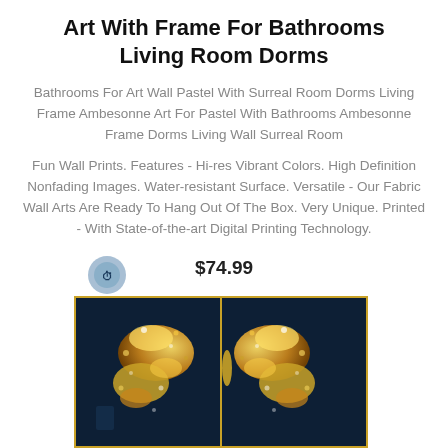Art With Frame For Bathrooms Living Room Dorms
Bathrooms For Art Wall Pastel With Surreal Room Dorms Living Frame Ambesonne Art For Pastel With Bathrooms Ambesonne Frame Dorms Living Wall Surreal Room
Fun Wall Prints. Features - Hi-res Vibrant Colors. High Definition Nonfading Images. Water-resistant Surface. Versatile - Our Fabric Wall Arts Are Ready To Hang Out Of The Box. Very Unique. Printed - With State-of-the-art Digital Printing Technology.
$74.99
[Figure (photo): Product photo showing two framed wall art panels with a golden butterfly design on a dark navy background]